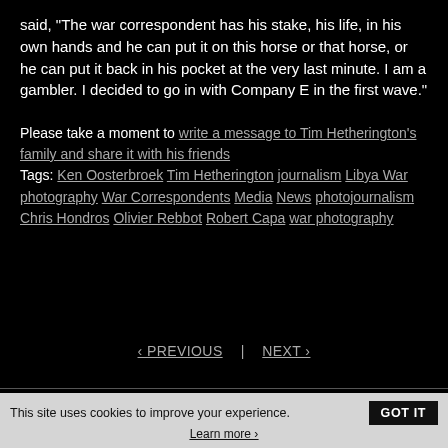said, "The war correspondent has his stake, his life, in his own hands and he can put it on this horse or that horse, or he can put it back in his pocket at the very last minute. I am a gambler. I decided to go in with Company E in the first wave."
Please take a moment to write a message to Tim Hetherington's family and share it with his friends
Tags: Ken Oosterbroek Tim Hetherington journalism Libya War photography War Correspondents Media News photojournalism Chris Hondros Olivier Rebbot Robert Capa war photography
‹ PREVIOUS
NEXT ›
This site uses cookies to improve your experience.
Learn more ›